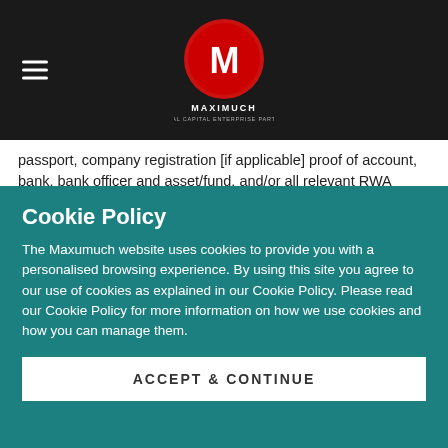Maximuch logo and navigation header
passport, company registration [if applicable] proof of account, bank, bank officer and asset/fund. and/or all relevant RWA [ready willing and able] bank documentation, and standard KYC signatures on the following:
affidavit requesting information/client information sheet/corporate resolution [if applicable]
Cookie Policy
The Maxumuch website uses cookies to provide you with a personalised browsing experience. By using this site you agree to our use of cookies as explained in our Cookie Policy. Please read our Cookie Policy for more information on how we use cookies and how you can manage them.
ACCEPT & CONTINUE